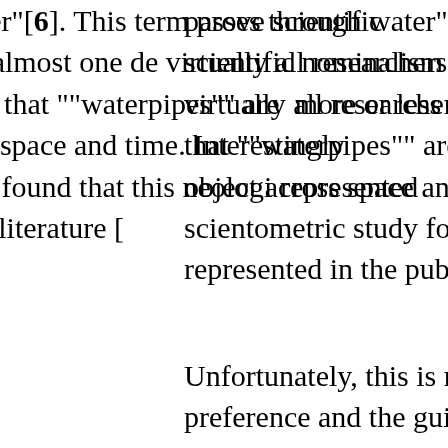passes through water"[6]. This term proves scientific nominalism as, for almost one decade virtually all researchers in this field have considered that ""waterpipes"" are more or less a same object across space and time. Interestingly, a scientometric study found that this neologism is overrepresented in the public health literature [
Unfortunately, this is not a mere question of preference and the guiding rule should have been to use the main names people have used for centuries (mainly "hookah", shisha or "n... always provide the corresponding characteristics. sad consequences have been that no distinction- published peer-reviewed studies- has been possible between the chemical composition of different water pipes and, above all, between latter's and that of cigarettes [8-9]. Such a... reached the point that the findings of one important study on genotoxic effects on buccal cells have been invalidated because of the use of "waterpipe" neologism [10-11]. Indeed, the (and health effects) of the Chinese bomba...